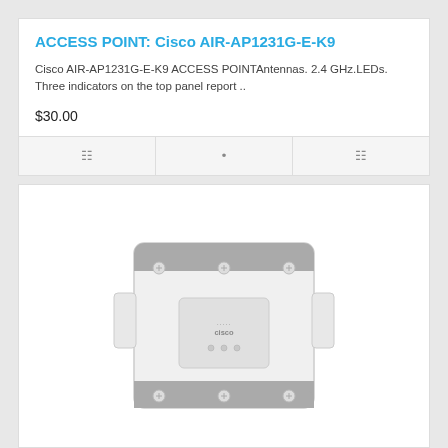ACCESS POINT: Cisco AIR-AP1231G-E-K9
Cisco AIR-AP1231G-E-K9 ACCESS POINTAntennas. 2.4 GHz.LEDs. Three indicators on the top panel report ..
$30.00
[Figure (photo): Cisco AIR-AP1231G-E-K9 wireless access point hardware photo, front/top view showing white rectangular device with grey accent bar on top and bottom, Cisco logo in center, three LED indicators, and six mounting screws on corners]